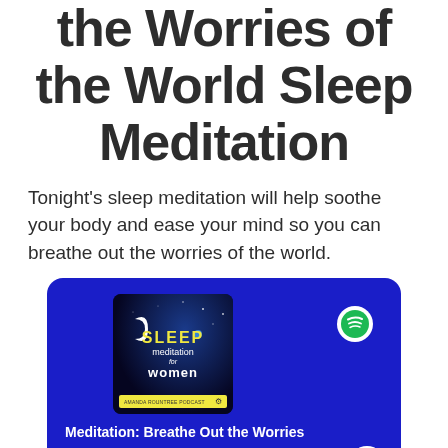the Worries of the World Sleep Meditation
Tonight's sleep meditation will help soothe your body and ease your mind so you can breathe out the worries of the world.
[Figure (screenshot): Spotify player card with dark blue background showing 'Sleep Meditation for Women' podcast album art featuring a crescent moon and stars on a dark space background, with yellow 'SLEEP' text. Track title: 'Meditation: Breathe Out the Worries', time 24:57, progress bar, and play button.]